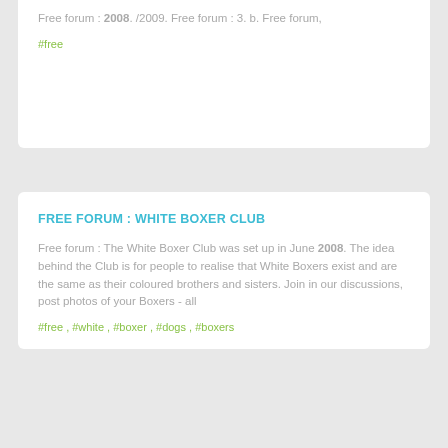Free forum : 2008. /2009. Free forum : 3. b. Free forum,
#free
FREE FORUM : WHITE BOXER CLUB
Free forum : The White Boxer Club was set up in June 2008. The idea behind the Club is for people to realise that White Boxers exist and are the same as their coloured brothers and sisters. Join in our discussions, post photos of your Boxers - all
#free , #white , #boxer , #dogs , #boxers
DUKE WEST TERM 2 2008
Free forum : A little space isolated from the rest of the world where the members of Duke West Term 2 2008 can reunite.